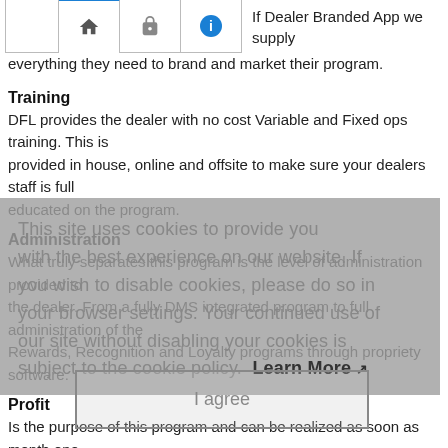[Figure (screenshot): Navigation bar with home, lock, and info icons, partially visible at the top of the page]
If Dealer Branded App we supply everything they need to brand and market their program.
Training
DFL provides the dealer with no cost Variable and Fixed ops training. This is provided in house, online and offsite to make sure your dealers staff is full educated on the program.
Administration
What truly separates this program is the level of administration provided to the dealer. From a fully DMS integrated program to full administration of the Rewards, Recognition and Loyalty programs through propriety software.
Profit
Is the purpose of this program and can be realized as soon as month one through a comprehensive upsell program. Long term sustainable profits are
This site uses cookies to provide you with the best experience on our website. If you wish to disable cookies, please do so in your browser settings. Your continued use of our site without disabling your cookies is subject to the cookie policy. Learn More